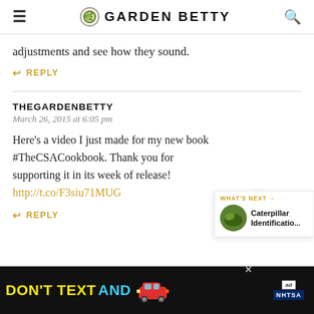GARDEN BETTY
adjustments and see how they sound.
↩ REPLY
THEGARDENBETTY
March 26, 2015 at 6:05 pm
Here's a video I just made for my new book #TheCSACookbook. Thank you for supporting it in its week of release! http://t.co/F3siu71MUG
↩ REPLY
[Figure (screenshot): DON'T TEXT AND drive advertisement banner with NHTSA logo]
[Figure (infographic): WHAT'S NEXT widget showing Caterpillar Identificatio...]